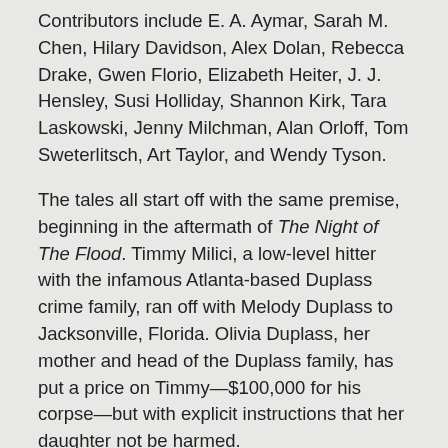Contributors include E. A. Aymar, Sarah M. Chen, Hilary Davidson, Alex Dolan, Rebecca Drake, Gwen Florio, Elizabeth Heiter, J. J. Hensley, Susi Holliday, Shannon Kirk, Tara Laskowski, Jenny Milchman, Alan Orloff, Tom Sweterlitsch, Art Taylor, and Wendy Tyson.
The tales all start off with the same premise, beginning in the aftermath of The Night of The Flood. Timmy Milici, a low-level hitter with the infamous Atlanta-based Duplass crime family, ran off with Melody Duplass to Jacksonville, Florida. Olivia Duplass, her mother and head of the Duplass family, has put a price on Timmy—$100,000 for his corpse—but with explicit instructions that her daughter not be harmed.
Editors Sarah M. Chen and E. A. Aymar sat down for a nice chat with The Big Thrill about narcissistic greed, selfish ambition, and raw revenge that all flows back to